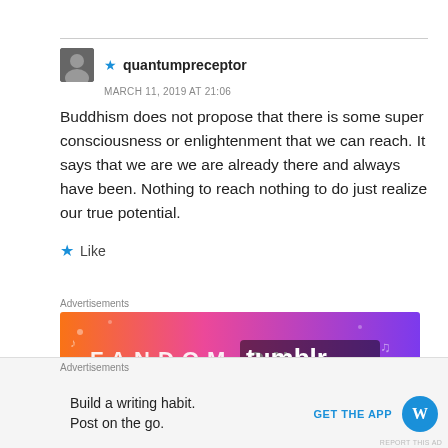★ quantumpreceptor
MARCH 11, 2019 AT 21:06
Buddhism does not propose that there is some super consciousness or enlightenment that we can reach. It says that we are we are already there and always have been. Nothing to reach nothing to do just realize our true potential.
Like
Advertisements
[Figure (other): Fandom on Tumblr advertisement banner with colorful orange-to-purple gradient background and stylized text]
Advertisements
Build a writing habit. Post on the go.
GET THE APP